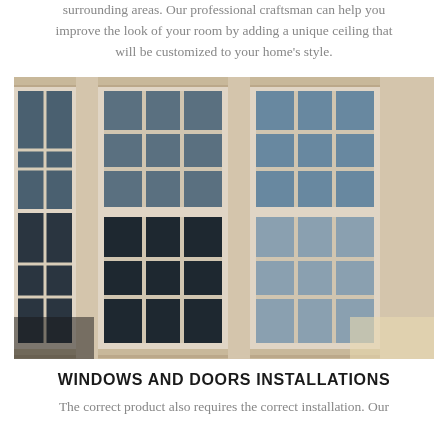surrounding areas. Our professional craftsman can help you improve the look of your room by adding a unique ceiling that will be customized to your home's style.
[Figure (photo): Close-up exterior photo of a house with multiple white-framed double-hung windows with grid panes, set in a beige/tan siding wall, with reflections of trees and sky in the glass panes.]
WINDOWS AND DOORS INSTALLATIONS
The correct product also requires the correct installation. Our